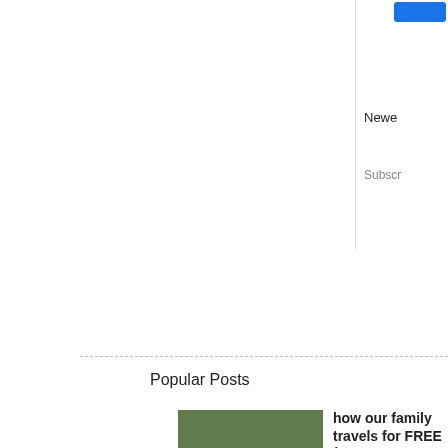[Figure (other): Blue button in top right sidebar area]
Newe
Subscr
Popular Posts
[Figure (photo): Family with children and backpacks outdoors]
how our family travels for FREE (+ yours can too!) *** See updated blog post here - Travel Hacking
[Figure (photo): Bunk beds in a children's room]
three to a room - update (and bunks!) We've had our three kids sharing a room for over
[Figure (photo): Sleep training related image]
sleep training 3.0 **Like many parenting techniques, (think co-slee